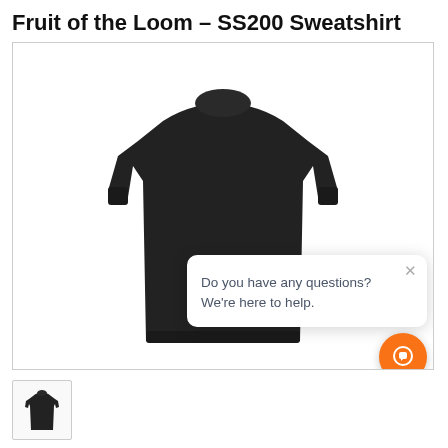Fruit of the Loom – SS200 Sweatshirt
[Figure (photo): Black crew-neck sweatshirt (Fruit of the Loom SS200) displayed flat on white background. Long sleeves, ribbed cuffs and hem. A chat popup overlay in bottom-right reads: 'Do you have any questions? We're here to help.' with an X close button. An orange chat button with headset icon is in the bottom-right corner.]
[Figure (photo): Thumbnail image of the same black sweatshirt, smaller version below the main product image.]